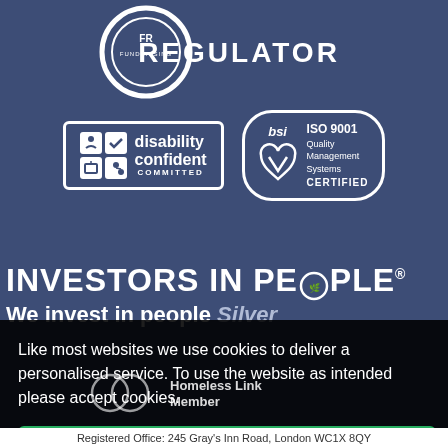[Figure (logo): Fundraising Regulator logo with circle badge and text REGULATOR in white on dark blue background]
[Figure (logo): Disability Confident Committed badge in white border box with icons]
[Figure (logo): BSI ISO 9001 Quality Management Systems Certified badge in rounded rectangle]
INVESTORS IN PEOPLE®
We invest in people Silver
Like most websites we use cookies to deliver a personalised service. To use the website as intended please accept cookies.
[Figure (logo): Homeless Link Member logo]
Accept Cookies
Registered Office: 245 Gray's Inn Road, London WC1X 8QY